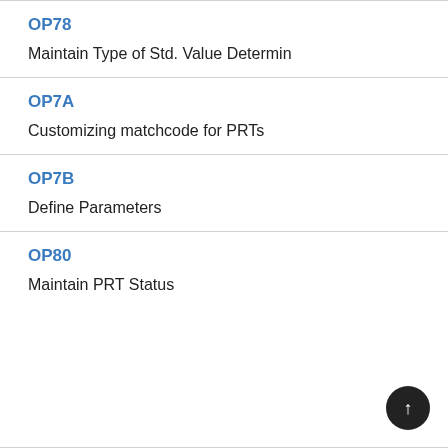OP78
Maintain Type of Std. Value Determin
OP7A
Customizing matchcode for PRTs
OP7B
Define Parameters
OP80
Maintain PRT Status